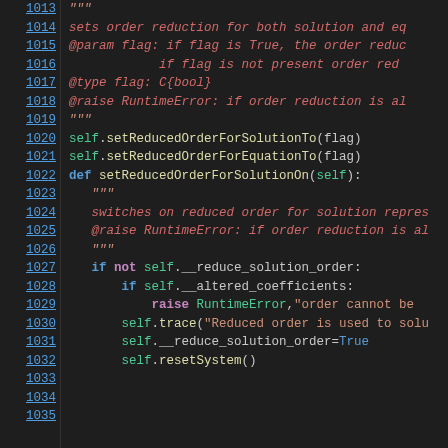Code listing lines 1013-1035, Python source code showing setReducedOrderForSolutionOn method and related code
[Figure (screenshot): Python source code viewer showing lines 1013-1035 with syntax highlighting. Line numbers in blue on the left, code content on the right with keywords in various colors (green, blue, red, orange).]